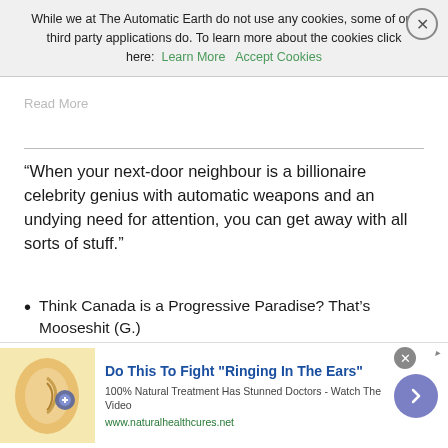their crimes would be good for the economy.
Read More
While we at The Automatic Earth do not use any cookies, some of our third party applications do. To learn more about the cookies click here: Learn More  Accept Cookies
“When your next-door neighbour is a billionaire celebrity genius with automatic weapons and an undying need for attention, you can get away with all sorts of stuff.”
Think Canada is a Progressive Paradise? That’s Mooseshit (G.)
Quick – picture Canada. What comes to mind? A progressive wonderland of polite manners and majestic moose? What America might be if it evolved a little? That place you’ll move to if Trump wins? If that’s what you think, that’s fine by us. In fact, it’s our brand: not America. The nice guys. Dull, kind and harmless. That’s how we like to be thought of. But it’s mooseshit. We are not the country you think we are. We never have been. The first prime minister and founding
[Figure (advertisement): Ad banner: Do This To Fight 'Ringing In The Ears' - 100% Natural Treatment Has Stunned Doctors - Watch The Video. www.naturalhealthcures.net. Image of ear with hearing device.]